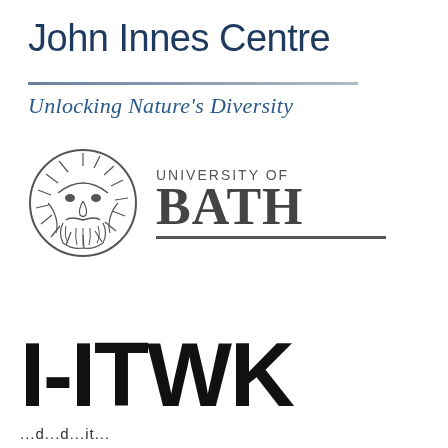[Figure (logo): John Innes Centre logo with text 'John Innes Centre' and tagline 'Unlocking Nature's Diversity']
[Figure (logo): University of Bath logo with sun face emblem and 'UNIVERSITY OF BATH' text]
[Figure (logo): Large bold text logo reading 'I-ITWK']
...d...d...it...